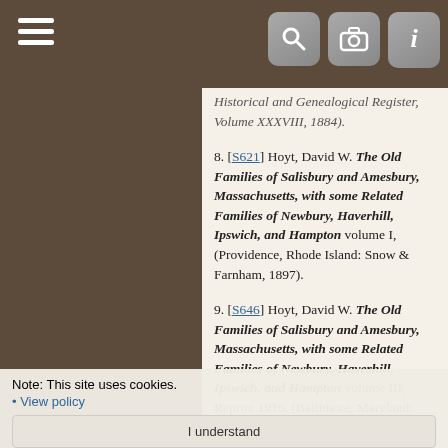[S621] Hoyt, David W. The Old Families of Salisbury and Amesbury, Massachusetts, with some Related Families of Newbury, Haverhill, Ipswich, and Hampton volume I, (Providence, Rhode Island: Snow & Farnham, 1897).
[S646] Hoyt, David W. The Old Families of Salisbury and Amesbury, Massachusetts, with some Related Families of Newbury, Haverhill, Ipswich, and Hampton volume III, Reprint 1916, (Baltimore, Maryland: Genealogical Publishing Company, 1982).
[S188] Massachusetts, Town and Vital Records, 1620-1988, (Provo, Utah: Ancestry.com Operations, Inc., 2011), Death Record of Susanna Jordan.
[S1692] Merrill, Frederick J. H. A Contribution to the Genealogy of the Merrill Family in America, (Albany, New York: Privately Printed, 1899).
Note: This site uses cookies. • View policy